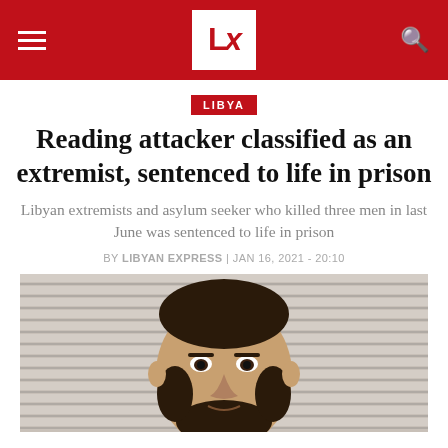LX - Libyan Express
LIBYA
Reading attacker classified as an extremist, sentenced to life in prison
Libyan extremists and asylum seeker who killed three men in last June was sentenced to life in prison
BY LIBYAN EXPRESS | JAN 16, 2021 - 20:10
[Figure (photo): Mugshot-style photo of a young bearded man with dark complexion, looking directly at camera, against a grey striped background]